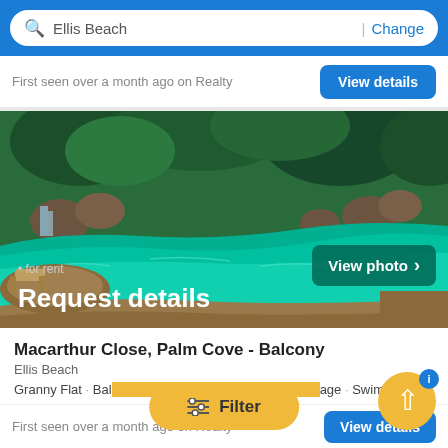Ellis Beach | Change
First seen over a month ago on Realty
[Figure (photo): Outdoor swimming pool with waterfall feature, surrounded by tropical plants and rocks. Turquoise water with curved pool edges and patio/decking area visible. Text overlays: 'View photo >', 'for rent', 'Request details'.]
Macarthur Close, Palm Cove - Balcony
Ellis Beach
Granny Flat · Balcony · Retirement Property · Garage · Swimm...
First seen over a month ago on Realty
[Figure (infographic): Golden/yellow filter overlay button labeled 'Filter' with sliders icon, and a golden FAB (floating action button) with upward arrow and blue notification indicator.]